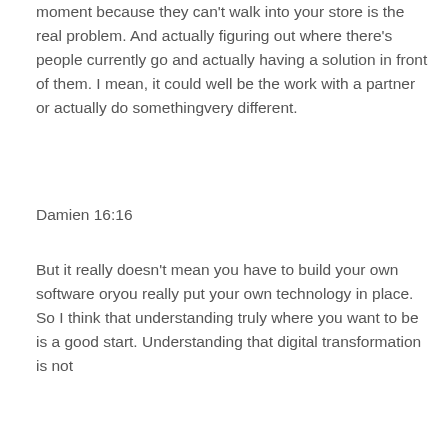into a different audience that you can't reach at the moment because they can't walk into your store is the real problem. And actually figuring out where there's people currently go and actually having a solution in front of them. I mean, it could well be the work with a partner or actually do somethingvery different.
Damien 16:16
But it really doesn't mean you have to build your own software oryou really put your own technology in place. So I think that understanding truly where you want to be is a good start. Understanding that digital transformation is not